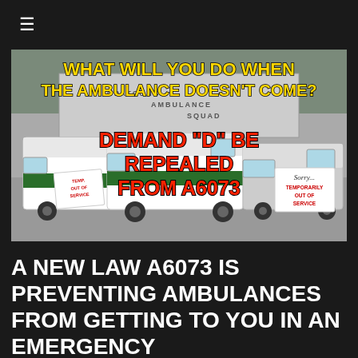≡
[Figure (infographic): Photo of ambulances parked outside a squad building with overlaid text reading: 'WHAT WILL YOU DO WHEN THE AMBULANCE DOESN'T COME?' in yellow, and 'DEMAND "D" BE REPEALED FROM A6073' in red. Signs on ambulances read 'Sorry... Temporarily Out of Service'.]
A NEW LAW A6073 IS PREVENTING AMBULANCES FROM GETTING TO YOU IN AN EMERGENCY